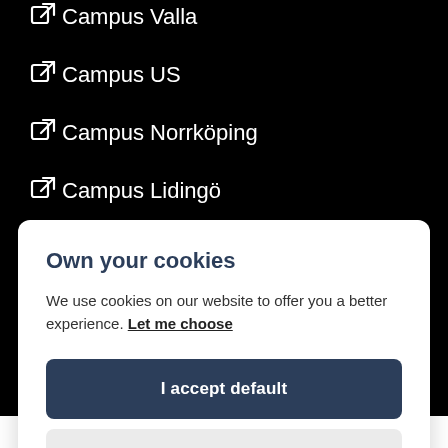Campus Valla
Campus US
Campus Norrköping
Campus Lidingö
Own your cookies
We use cookies on our website to offer you a better experience. Let me choose
I accept default
Only necessary
Work at LiU